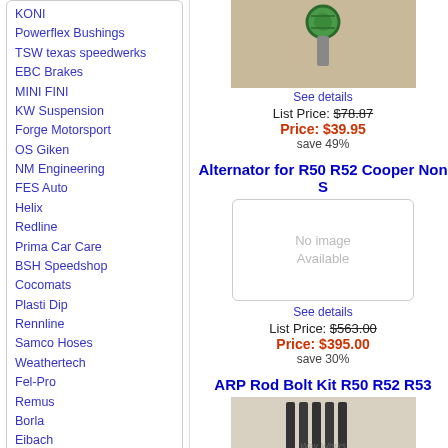KONI
Powerflex Bushings
TSW texas speedwerks
EBC Brakes
MINI FINI
KW Suspension
Forge Motorsport
OS Giken
NM Engineering
FES Auto
Helix
Redline
Prima Car Care
BSH Speedshop
Cocomats
Plasti Dip
Rennline
Samco Hoses
Weathertech
Fel-Pro
Remus
Borla
Eibach
Quicksilver
Dinan
Airtec
Special
Gift certificates
Services
[Figure (photo): Product photo showing a green bolt/connector part on beige background]
See details
List Price: $78.87
Price: $39.95
save 49%
Alternator for R50 R52 Cooper Non S
[Figure (photo): No image available placeholder]
See details
List Price: $563.00
Price: $395.00
save 30%
ARP Rod Bolt Kit R50 R52 R53
[Figure (photo): Rod bolt kit product image showing dark cylindrical rods with watermark text]